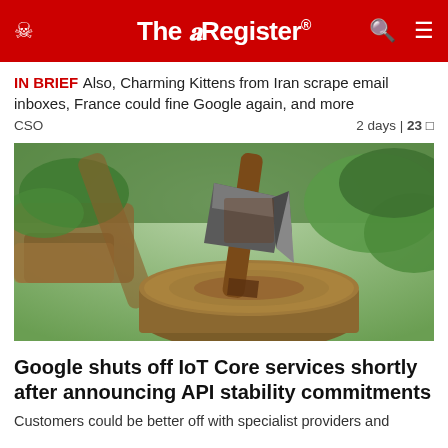The Register
IN BRIEF Also, Charming Kittens from Iran scrape email inboxes, France could fine Google again, and more
CSO   2 days | 23
[Figure (photo): An axe embedded in a tree stump with green foliage and wood logs in the background]
Google shuts off IoT Core services shortly after announcing API stability commitments
Customers could be better off with specialist providers and